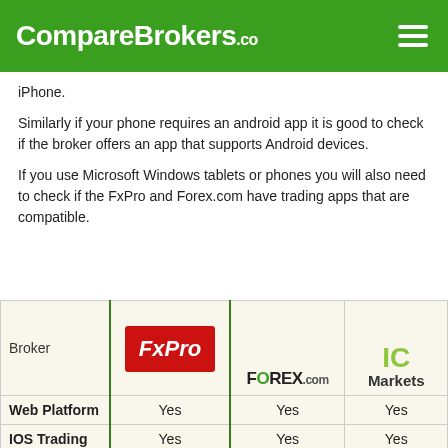CompareBrokers.co
iPhone.
Similarly if your phone requires an android app it is good to check if the broker offers an app that supports Android devices.
If you use Microsoft Windows tablets or phones you will also need to check if the FxPro and Forex.com have trading apps that are compatible.
| Broker | FxPro | FOREX.com | IC Markets |
| --- | --- | --- | --- |
| Web Platform | Yes | Yes | Yes |
| IOS Trading | Yes | Yes | Yes |